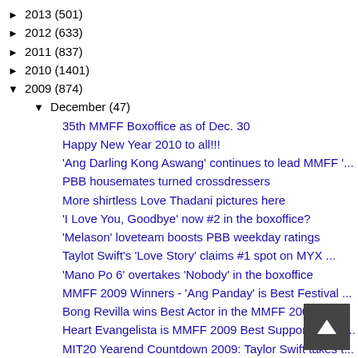► 2013 (501)
► 2012 (633)
► 2011 (837)
► 2010 (1401)
▼ 2009 (874)
▼ December (47)
35th MMFF Boxoffice as of Dec. 30
Happy New Year 2010 to all!!!
'Ang Darling Kong Aswang' continues to lead MMFF '...
PBB housemates turned crossdressers
More shirtless Love Thadani pictures here
'I Love You, Goodbye' now #2 in the boxoffice?
'Melason' loveteam boosts PBB weekday ratings
Taylot Swift's 'Love Story' claims #1 spot on MYX ...
'Mano Po 6' overtakes 'Nobody' in the boxoffice
MMFF 2009 Winners - 'Ang Panday' is Best Festival ...
Bong Revilla wins Best Actor in the MMFF 2009
Heart Evangelista is MMFF 2009 Best Supporting Act...
MIT20 Yearend Countdown 2009: Taylor Swift takes t...
Sarah Geronimo tops Pinoy MYX Year-End Countdown f...
Hayden Kho Jr named "Videographer of the Year"